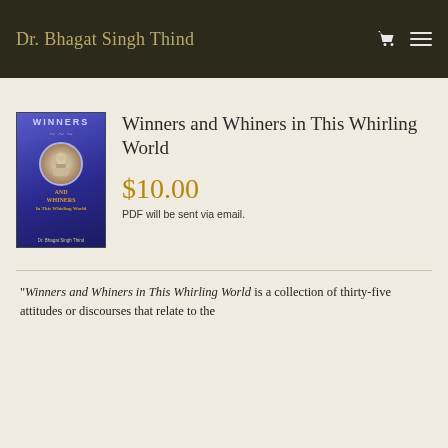Dr. Bhagat Singh Thind
[Figure (illustration): Book cover of 'Winners and Whiners in This Whirling World' by Dr. Bhagat Singh Thind, showing purple/blue cover with a portrait and decorative wings motif]
Winners and Whiners in This Whirling World
$10.00
PDF will be sent via email.
“Winners and Whiners in This Whirling World is a collection of thirty-five attitudes or discourses that relate to the